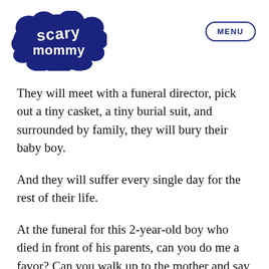[Figure (logo): Scary Mommy logo in dark navy blue with bubbly comic-style lettering]
They will meet with a funeral director, pick out a tiny casket, a tiny burial suit, and surrounded by family, they will bury their baby boy.
And they will suffer every single day for the rest of their life.
At the funeral for this 2-year-old boy who died in front of his parents, can you do me a favor? Can you walk up to the mother and say the words that you just typed out last week? Can